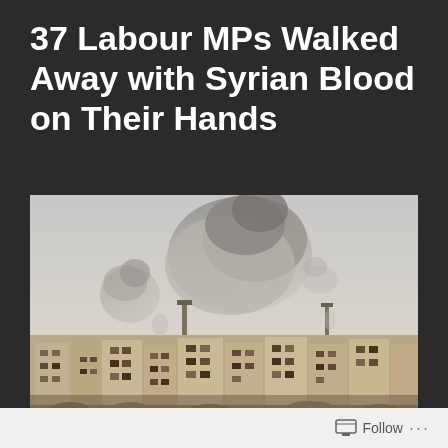37 Labour MPs Walked Away with Syrian Blood on Their Hands
[Figure (photo): Photograph of a destroyed Syrian city with large plumes of smoke and rubble-filled buildings rising against a hazy sky.]
Follow ...